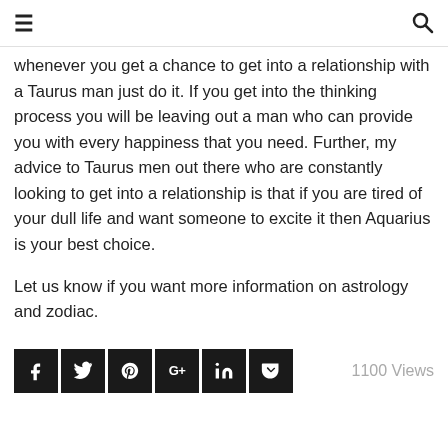≡  🔍
whenever you get a chance to get into a relationship with a Taurus man just do it. If you get into the thinking process you will be leaving out a man who can provide you with every happiness that you need. Further, my advice to Taurus men out there who are constantly looking to get into a relationship is that if you are tired of your dull life and want someone to excite it then Aquarius is your best choice.
Let us know if you want more information on astrology and zodiac.
[Figure (infographic): Social sharing buttons: Facebook (f), Twitter (bird), Pinterest (P), Google+ (G+), LinkedIn (in), Pocket (pocket icon). On the right: '1100 Views' in grey text.]